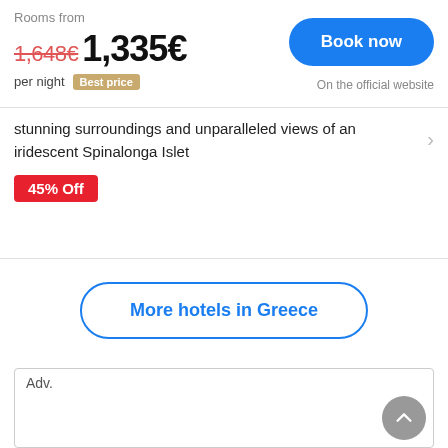Rooms from
1,648€ 1,335€ per night Best price
Book now
On the official website
stunning surroundings and unparalleled views of an iridescent Spinalonga Islet
45% Off
More hotels in Greece
Adv.